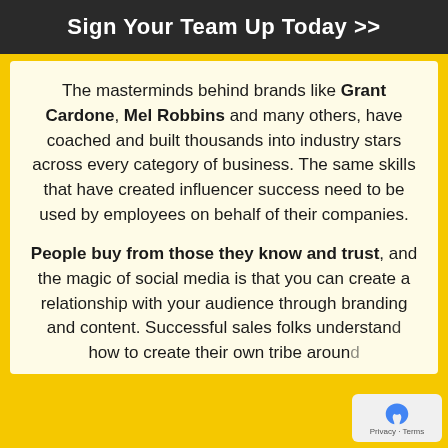Sign Your Team Up Today >>
The masterminds behind brands like Grant Cardone, Mel Robbins and many others, have coached and built thousands into industry stars across every category of business. The same skills that have created influencer success need to be used by employees on behalf of their companies.
People buy from those they know and trust, and the magic of social media is that you can create a relationship with your audience through branding and content. Successful sales folks understand how to create their own tribe around